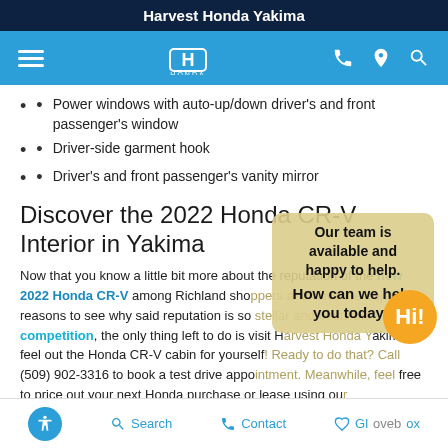Harvest Honda Yakima
[Figure (screenshot): Blue navigation bar with hamburger menu, Honda logo, phone, location, and search icons]
Power windows with auto-up/down driver's and front passenger's window
Driver-side garment hook
Driver's and front passenger's vanity mirror
Discover the 2022 Honda CR-V Interior in Yakima
Now that you know a little bit more about the reputation of the new 2022 Honda CR-V among Richland shoppers and have the objective reasons to see why said reputation is so stellar and bests the competition, the only thing left to do is visit Harvest Honda Yakima to feel out the Honda CR-V cabin for yourself! Ready to do that? Call (509) 902-3316 to book a test drive appointment. Meanwhile, feel free to price out your next Honda purchase or lease using our
Search   Contact   Glovebox